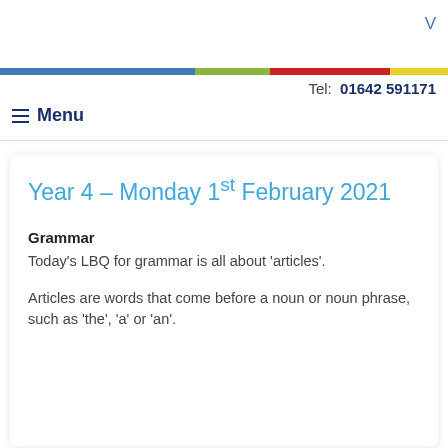V
Tel: 01642 591171
Menu
Year 4 – Monday 1st February 2021
Grammar
Today's LBQ for grammar is all about 'articles'.
Articles are words that come before a noun or noun phrase, such as 'the', 'a' or 'an'.